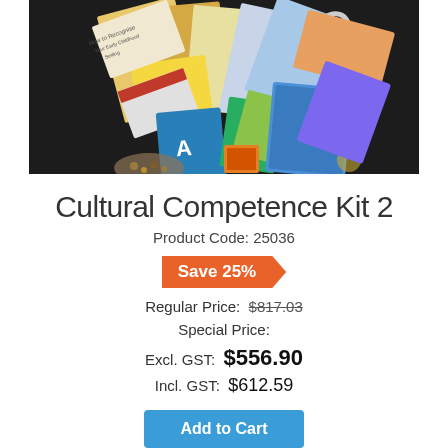[Figure (photo): A collection of educational materials and books spread out on a dark background, including cards, booklets, and various colorful items making up the Cultural Competence Kit 2.]
Cultural Competence Kit 2
Product Code: 25036
Save 25%
Regular Price: $817.03
Special Price:
Excl. GST: $556.90
Incl. GST: $612.59
Add to Cart